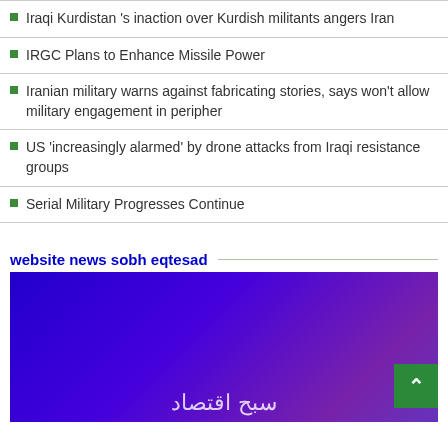Iraqi Kurdistan 's inaction over Kurdish militants angers Iran
IRGC Plans to Enhance Missile Power
Iranian military warns against fabricating stories, says won't allow military engagement in peripher
US 'increasingly alarmed' by drone attacks from Iraqi resistance groups
Serial Military Progresses Continue
website news sobh eqtesad
[Figure (photo): Blue-purple gradient background image with Arabic text at the bottom, part of a news website section for sobh eqtesad]